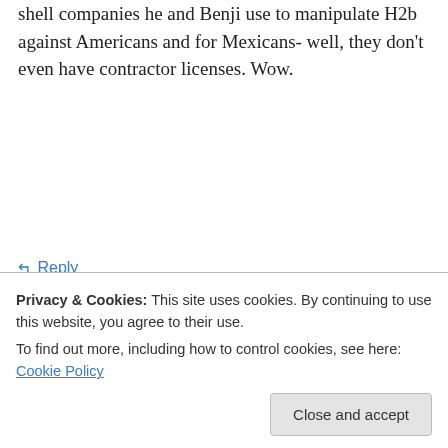shell companies he and Benji use to manipulate H2b against Americans and for Mexicans- well, they don't even have contractor licenses. Wow.
↪ Reply
Bayou Bernie on February 19, 2020 at 8:22 am
It's great to see the Advocate is still doing some investigative reporting. They actually scooped LV on this one! But what happens now? Is it up to
Privacy & Cookies: This site uses cookies. By continuing to use this website, you agree to their use.
To find out more, including how to control cookies, see here: Cookie Policy
Close and accept
all in the public interest, and wait until it blows